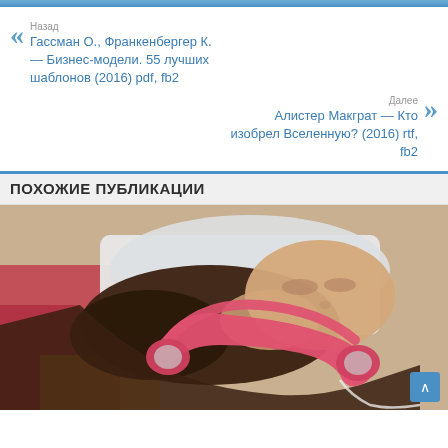Назад
Гассман О., Франкенбергер К. — Бизнес-модели. 55 лучших шаблонов (2016) pdf, fb2
Далее
Алистер Макграт — Кто изобрел Вселенную? (2016) rtf, fb2
ПОХОЖИЕ ПУБЛИКАЦИИ
[Figure (photo): Young woman lying down with pink headphones, listening to music]